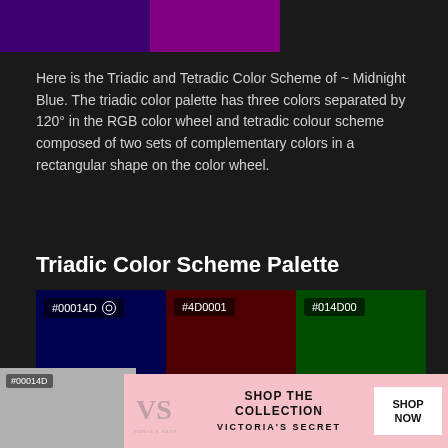[Figure (illustration): Two color swatches at top: dark purple and bright purple/magenta rectangles]
Here is the Triadic and Tetradic Color Scheme of ~ Midnight Blue. The triadic color palette has three colors separated by 120° in the RGB color wheel and tetradic colour scheme composed of two sets of complementary colors in a rectangular shape on the color wheel.
Triadic Color Scheme Palette
[Figure (illustration): Three color swatches: #00014D (dark navy blue), #4D0001 (dark red/maroon), #014D00 (dark green)]
Tetradic Color Scheme Palette
[Figure (illustration): Ad banner: Victoria's Secret - Shop The Collection - Shop Now, with model image]